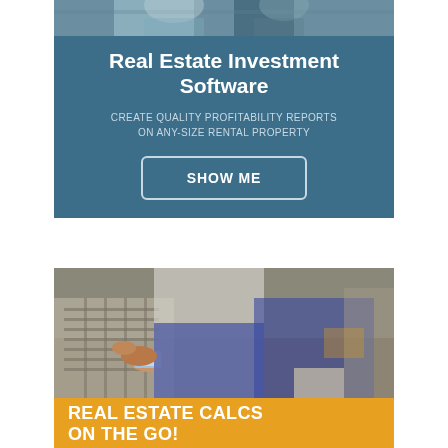[Figure (photo): Top portion of a photo showing people, partially visible at the top of the first ad banner]
Real Estate Investment Software
CREATE QUALITY PROFITABILITY REPORTS ON ANY-SIZE RENTAL PROPERTY
SHOW ME
[Figure (photo): Photo of people sitting, one person holding a smartphone, wearing casual clothing including plaid shirt and jeans]
REAL ESTATE CALCS ON THE GO!